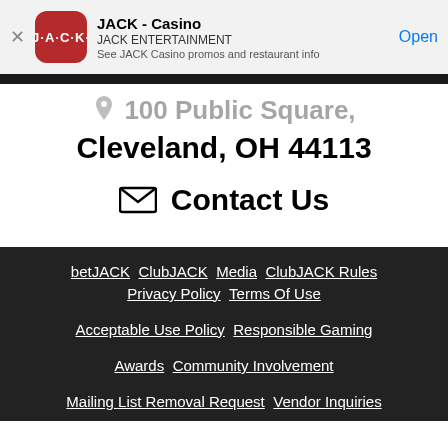[Figure (screenshot): JACK Casino app banner with red rounded square icon showing J·A·C·K· text, app name 'JACK - Casino', company 'JACK ENTERTAINMENT', description 'See JACK Casino promos and restaurant info', and blue 'Open' button]
100 Public Square, Cleveland, OH 44113
Contact Us
betJACK
ClubJACK
Media
ClubJACK Rules
Privacy Policy
Terms Of Use
Acceptable Use Policy
Responsible Gaming
Awards
Community Involvement
Mailing List Removal Request
Vendor Inquiries